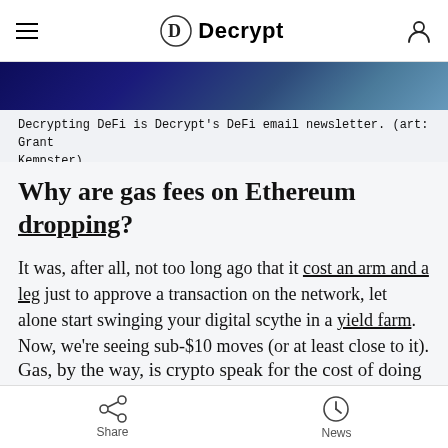Decrypt
[Figure (photo): Dark blue abstract background image strip, partial view of a DeFi-themed illustration]
Decrypting DeFi is Decrypt's DeFi email newsletter. (art: Grant Kempster)
Why are gas fees on Ethereum dropping?
It was, after all, not too long ago that it cost an arm and a leg just to approve a transaction on the network, let alone start swinging your digital scythe in a yield farm. Now, we’re seeing sub-$10 moves (or at least close to it).
Gas, by the way, is crypto speak for the cost of doing
Share   News